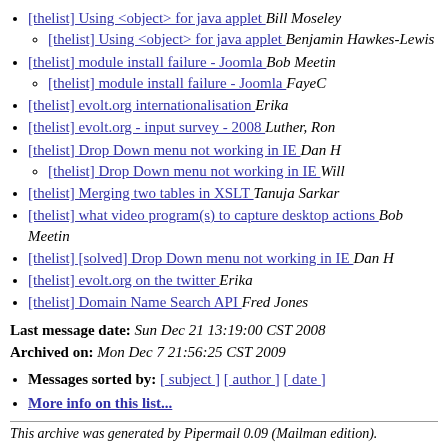[thelist] Using <object> for java applet  Bill Moseley
[thelist] Using <object> for java applet  Benjamin Hawkes-Lewis
[thelist] module install failure - Joomla  Bob Meetin
[thelist] module install failure - Joomla  FayeC
[thelist] evolt.org internationalisation  Erika
[thelist] evolt.org - input survey - 2008  Luther, Ron
[thelist] Drop Down menu not working in IE  Dan H
[thelist] Drop Down menu not working in IE  Will
[thelist] Merging two tables in XSLT  Tanuja Sarkar
[thelist] what video program(s) to capture desktop actions  Bob Meetin
[thelist] [solved] Drop Down menu not working in IE  Dan H
[thelist] evolt.org on the twitter  Erika
[thelist] Domain Name Search API  Fred Jones
Last message date: Sun Dec 21 13:19:00 CST 2008
Archived on: Mon Dec 7 21:56:25 CST 2009
Messages sorted by: [ subject ] [ author ] [ date ]
More info on this list...
This archive was generated by Pipermail 0.09 (Mailman edition).